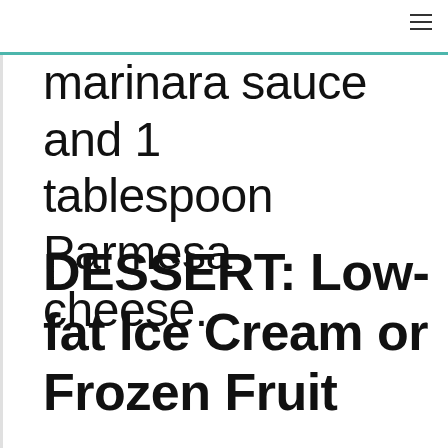marinara sauce and 1 tablespoon Parmesan cheese.
DESSERT: Low-fat Ice Cream or Frozen Fruit